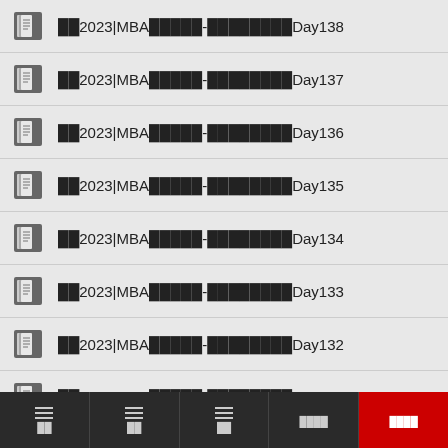□□2023|MBA□□□□□-□□□□□□□□Day138
□□2023|MBA□□□□□-□□□□□□□□Day137
□□2023|MBA□□□□□-□□□□□□□□Day136
□□2023|MBA□□□□□-□□□□□□□□Day135
□□2023|MBA□□□□□-□□□□□□□□Day134
□□2023|MBA□□□□□-□□□□□□□□Day133
□□2023|MBA□□□□□-□□□□□□□□Day132
□□2023|MBA□□□□□-□□□□□□□□Day131
□□2023|MBA□□□□□-□□□□□□□□Day130
□□ □□ □□ □□□□□□ □□□□□□